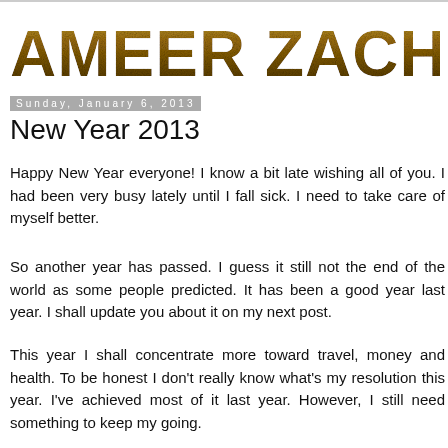[Figure (logo): Blog header logo reading 'Ameer Zachery' in large textured gold/brown decorative font]
Sunday, January 6, 2013
New Year 2013
Happy New Year everyone! I know a bit late wishing all of you. I had been very busy lately until I fall sick. I need to take care of myself better.
So another year has passed. I guess it still not the end of the world as some people predicted. It has been a good year last year. I shall update you about it on my next post.
This year I shall concentrate more toward travel, money and health. To be honest I don't really know what's my resolution this year. I've achieved most of it last year. However, I still need something to keep my going.